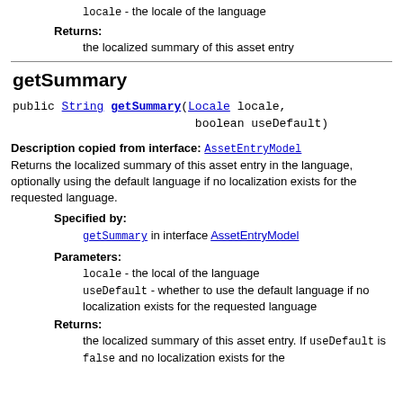locale - the locale of the language
Returns:
the localized summary of this asset entry
getSummary
public String getSummary(Locale locale, boolean useDefault)
Description copied from interface: AssetEntryModel Returns the localized summary of this asset entry in the language, optionally using the default language if no localization exists for the requested language.
Specified by:
getSummary in interface AssetEntryModel
Parameters:
locale - the local of the language
useDefault - whether to use the default language if no localization exists for the requested language
Returns:
the localized summary of this asset entry. If useDefault is false and no localization exists for the requested language, an empty string will be returned